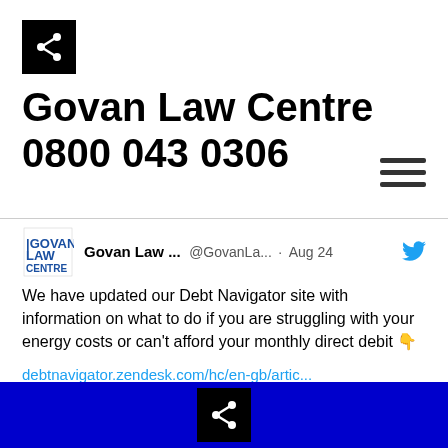Govan Law Centre 0800 043 0306
[Figure (screenshot): Tweet from Govan Law Centre (@GovanLa...) dated Aug 24, with Twitter bird icon and Govan Law Centre logo. Tweet text: We have updated our Debt Navigator site with information on what to do if you are struggling with your energy costs or can't afford your monthly direct debit 👇. Link: debtnavigator.zendesk.com/hc/en-gb/artic... Hashtags: #pricecap #energyadvice]
Share button footer bar